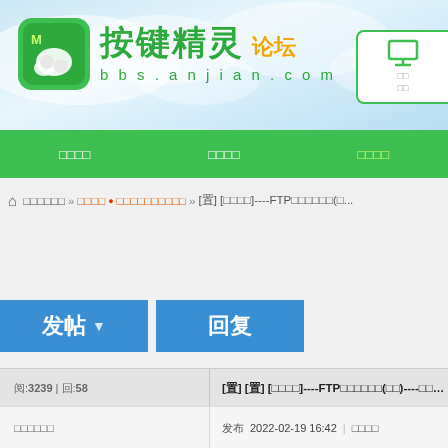[Figure (screenshot): Website header banner with logo for 按键精灵 (anjian.com forum), green logo icon with M letter, Chinese text and bbs.anjian.com URL, sky/cloud background, right side has a monitor icon widget]
按键精灵 论坛 bbs.anjian.com
□□□□  □□□□  □□□□
⌂  □□□□□□ » □□□□●□□□□□□□□□□ » [置] [教程] ----FTP□□□□□□(□...
发帖  回复
阅: 3239 | 回: 58
[置] [置] [教程□□]----FTP□□□□□□(□□)----□□□□□□
□□□□□□
发布 2022-02-19 16:42  |  □□□□